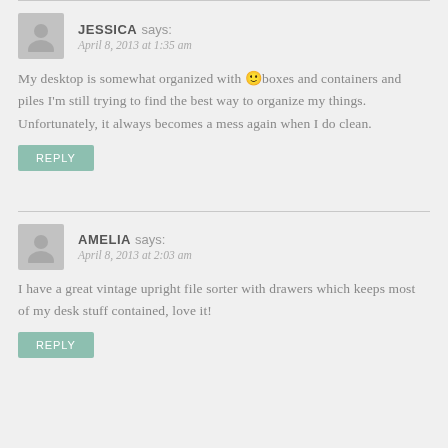JESSICA says: April 8, 2013 at 1:35 am
My desktop is somewhat organized with 🙂 boxes and containers and piles I'm still trying to find the best way to organize my things. Unfortunately, it always becomes a mess again when I do clean.
REPLY
AMELIA says: April 8, 2013 at 2:03 am
I have a great vintage upright file sorter with drawers which keeps most of my desk stuff contained, love it!
REPLY